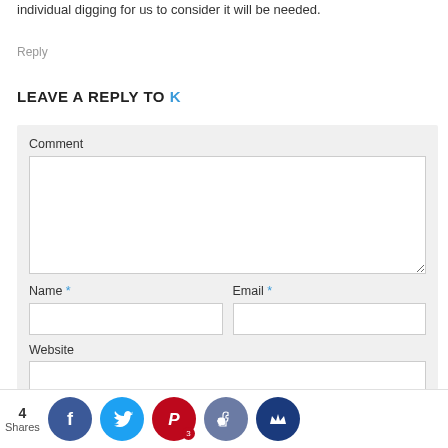individual digging for us to consider it will be needed.
Reply
LEAVE A REPLY TO K
Comment
Name *
Email *
Website
4 Shares